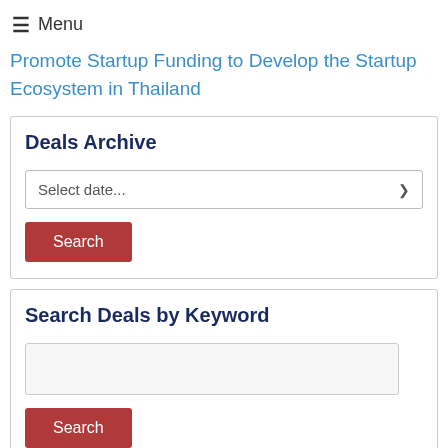≡ Menu
Promote Startup Funding to Develop the Startup Ecosystem in Thailand
Deals Archive
Select date...
Search
Search Deals by Keyword
Search